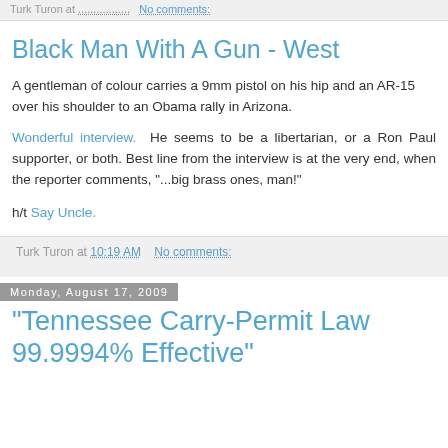Turk Turon at ............... No comments:
Black Man With A Gun - West
A gentleman of colour carries a 9mm pistol on his hip and an AR-15 over his shoulder to an Obama rally in Arizona.
Wonderful interview. He seems to be a libertarian, or a Ron Paul supporter, or both. Best line from the interview is at the very end, when the reporter comments, "...big brass ones, man!"
h/t Say Uncle.
Turk Turon at 10:19 AM   No comments:
Monday, August 17, 2009
"Tennessee Carry-Permit Law 99.9994% Effective"